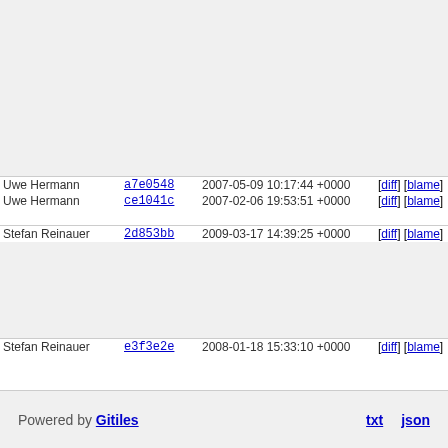| Author | Commit | Date | Links | Line | Code |
| --- | --- | --- | --- | --- | --- |
|  |  |  |  | 108 | #de |
|  |  |  |  | 109 | #de |
|  |  |  |  | 110 | #de |
|  |  |  |  | 111 | #de |
|  |  |  |  | 112 | #de |
|  |  |  |  | 113 | #de |
|  |  |  |  | 114 | #de |
|  |  |  |  | 115 | #de |
|  |  |  |  | 116 | str |
|  |  |  |  | 117 |  |
|  |  |  |  | 118 |  |
| Uwe Hermann | a7e0548 | 2007-05-09 10:17:44 +0000 | [diff] [blame] | 119 |  |
| Uwe Hermann | ce1041c | 2007-02-06 19:53:51 +0000 | [diff] [blame] | 120 | }; |
|  |  |  |  | 121 |  |
| Stefan Reinauer | 2d853bb | 2009-03-17 14:39:25 +0000 | [diff] [blame] | 122 | #de |
|  |  |  |  | 123 | str |
|  |  |  |  | 124 |  |
|  |  |  |  | 125 |  |
|  |  |  |  | 126 |  |
|  |  |  |  | 127 | }; |
|  |  |  |  | 128 |  |
| Stefan Reinauer | e3f3e2e | 2008-01-18 15:33:10 +0000 | [diff] [blame] | 129 | #er |
Powered by Gitiles  txt  json